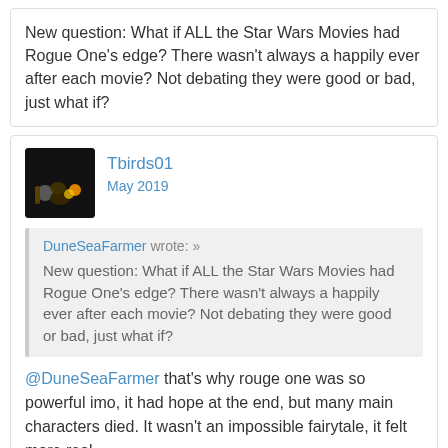New question: What if ALL the Star Wars Movies had Rogue One's edge? There wasn't always a happily ever after each movie? Not debating they were good or bad, just what if?
Tbirds01
May 2019
DuneSeaFarmer wrote: »
New question: What if ALL the Star Wars Movies had Rogue One's edge? There wasn't always a happily ever after each movie? Not debating they were good or bad, just what if?
@DuneSeaFarmer that's why rouge one was so powerful imo, it had hope at the end, but many main characters died. It wasn't an impossible fairytale, it felt more real.
DuneSeaFarmer
May 2019 edited May 2019